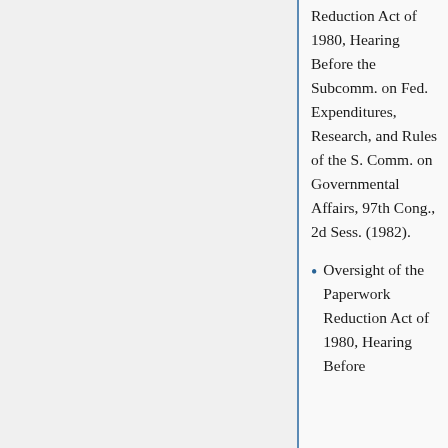Reduction Act of 1980, Hearing Before the Subcomm. on Fed. Expenditures, Research, and Rules of the S. Comm. on Governmental Affairs, 97th Cong., 2d Sess. (1982).
Oversight of the Paperwork Reduction Act of 1980, Hearing Before